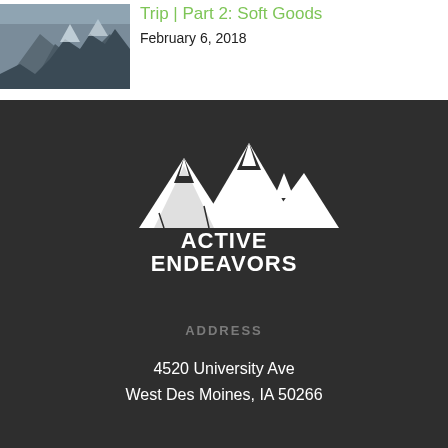Trip | Part 2: Soft Goods
February 6, 2018
[Figure (logo): Active Endeavors logo — white mountain graphic above bold white text 'ACTIVE ENDEAVORS' with tagline 'outdoor apparel and accessories']
ADDRESS
4520 University Ave
West Des Moines, IA 50266